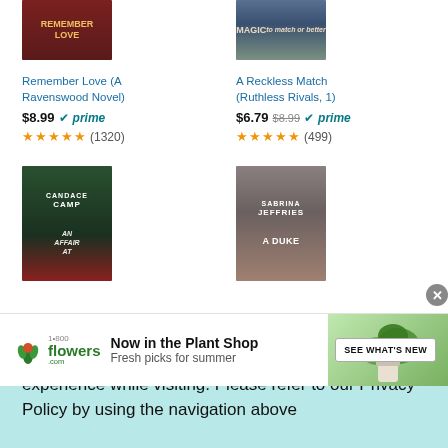[Figure (photo): Book cover for Remember Love (A Ravenswood Novel) - dark red/maroon cover]
[Figure (photo): Book cover for A Reckless Match (Ruthless Rivals, 1) - green/teal cover]
Remember Love (A Ravenswood Novel)
$8.99 prime
★★★★½ (1320)
A Reckless Match (Ruthless Rivals, 1)
$6.79 $8.99 prime
★★★★½ (499)
[Figure (photo): Book cover for An Affair At... by Candace Camp - garden/red dress cover]
[Figure (photo): Book cover for A Duke... by Sabrina Jeffries - house/period drama cover]
Our blog uses cookies to ensure you get the best experience while visiting. Please refer to our Privacy Policy by using the navigation above
[Figure (other): infolinks advertisement badge]
[Figure (other): 1-800-flowers.com advertisement banner: Now in the Plant Shop - Fresh picks for summer - SEE WHAT'S NEW button]